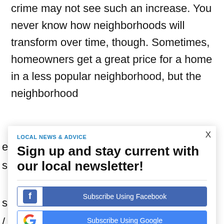crime may not see such an increase. You never know how neighborhoods will transform over time, though. Sometimes, homeowners get a great price for a home in a less popular neighborhood, but the neighborhood
[Figure (screenshot): Newsletter signup modal popup with category label 'LOCAL NEWS & ADVICE', headline 'Sign up and stay current with our local newsletter!', a 'Subscribe Using Facebook' button, and a 'Subscribe Using Google' button. A close (X) button is in the top-right corner.]